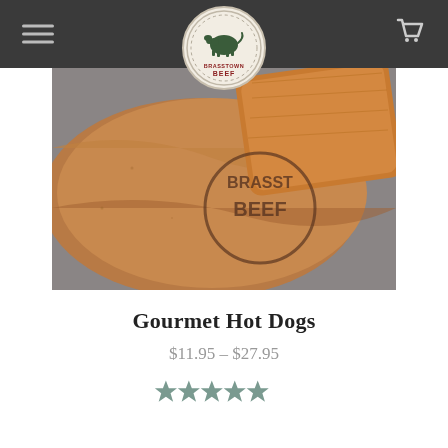Brasstown Beef – Navigation header with logo and cart
[Figure (photo): Close-up photo of brown kraft paper wrapping with the Brasstown Beef logo stamp and a wooden cutting board in the background]
Gourmet Hot Dogs
$11.95 – $27.95
[Figure (other): Five-star rating (5 out of 5 stars) in teal/grey color]